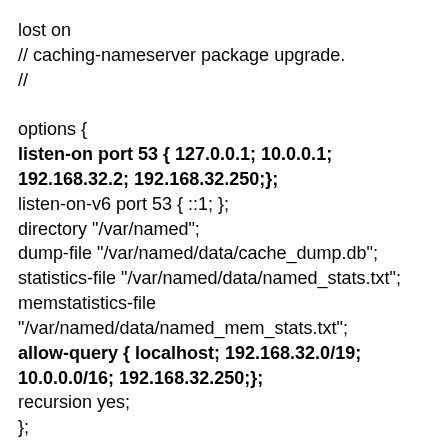lost on
// caching-nameserver package upgrade.
//

options {
listen-on port 53 { 127.0.0.1; 10.0.0.1; 192.168.32.2; 192.168.32.250;};
listen-on-v6 port 53 { ::1; };
directory "/var/named";
dump-file "/var/named/data/cache_dump.db";
statistics-file "/var/named/data/named_stats.txt";
memstatistics-file "/var/named/data/named_mem_stats.txt";
allow-query { localhost; 192.168.32.0/19; 10.0.0.0/16; 192.168.32.250;};
recursion yes;
};

logging {
channel default_debug {
file "data/named.run";
severity dynamic;